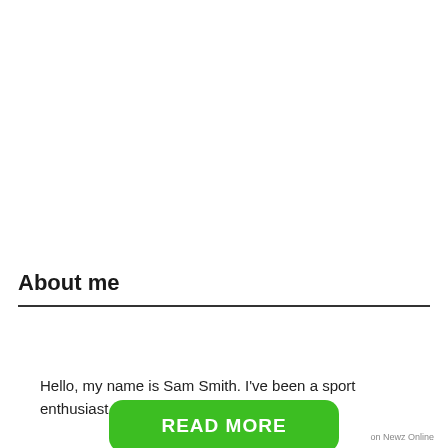About me
Hello, my name is Sam Smith. I've been a sport enthusiast since my
[Figure (other): Green READ MORE button]
on Newz Online